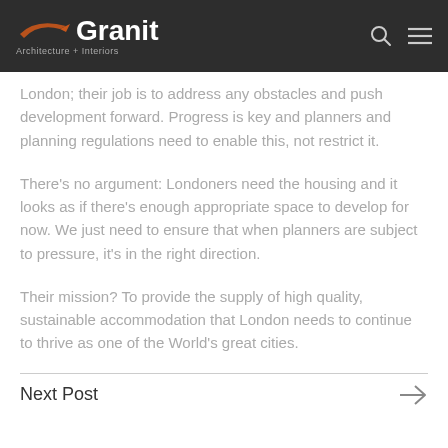Granit Architecture + Interiors
London; their job is to address any obstacles and push development forward. Progress is key and planners and planning regulations need to enable this, not restrict it.
There’s no argument: Londoners need the housing and it looks as if there’s enough appropriate space to develop for now. We just need to ensure that when planners are subject to pressure, it’s in the right direction.
Their mission? To provide the supply of high quality, sustainable accommodation that London needs to continue to thrive as one of the World’s great cities.
Next Post